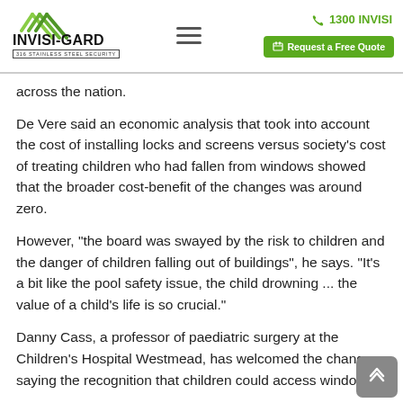[Figure (logo): Invisi-Gard 316 Stainless Steel Security logo with green checkmark graphic, phone number 1300 INVISI, hamburger menu icon, and green Request a Free Quote button]
across the nation.
De Vere said an economic analysis that took into account the cost of installing locks and screens versus society's cost of treating children who had fallen from windows showed that the broader cost-benefit of the changes was around zero.
However, "the board was swayed by the risk to children and the danger of children falling out of buildings", he says. "It's a bit like the pool safety issue, the child drowning ... the value of a child's life is so crucial."
Danny Cass, a professor of paediatric surgery at the Children's Hospital Westmead, has welcomed the changes, saying the recognition that children could access windows